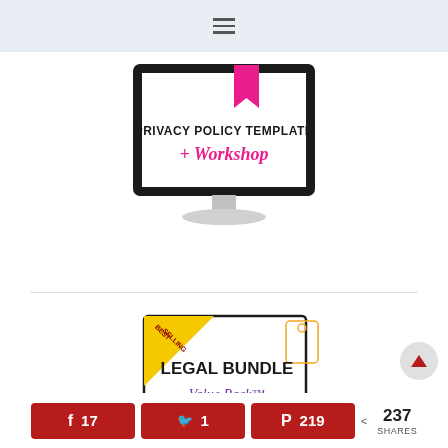[Figure (screenshot): Navigation bar with hamburger menu icon on light blue-gray background]
[Figure (illustration): Computer monitor displaying 'PRIVACY POLICY TEMPLATE + Workshop' text, with pink bookmark ribbon at top]
[Figure (illustration): Legal Bundle Value Pack product image with yellow 'Best Selling' banner corner, price tag graphic, bold text 'LEGAL BUNDLE' and purple script 'Value Pack™']
17  1  219  < 237 SHARES